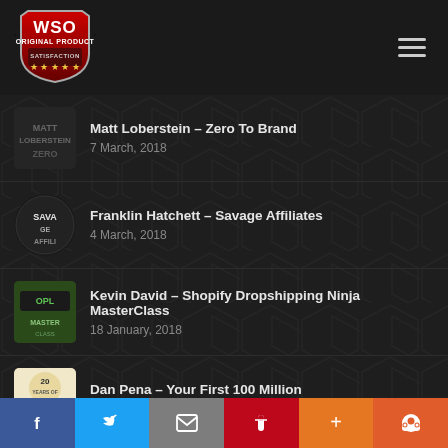[Figure (logo): WSO Original Product Satisfaction shield logo in red and black]
Matt Loberstein – Zero To Brand
7 March, 2018
Franklin Hatchett – Savage Affiliates
4 March, 2018
Kevin David – Shopify Dropshipping Ninja MasterClass
18 January, 2018
Dan Pena – Your First 100 Million
26 August, 2017
[Download] How to Build a Multimillion Dollar...
Facebook | Twitter | Email | Pinterest | Plus | Reddit